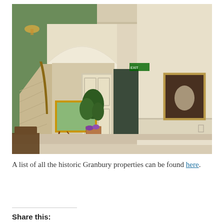[Figure (photo): Interior of a historic home showing an entryway with a curved staircase on the left with green patterned wallpaper, a white arched doorway, paintings on easel and wall, a potted plant with purple flowers on a side table, an open door revealing a dark hallway, and cream-colored walls and carpet.]
A list of all the historic Granbury properties can be found here.
Share this: